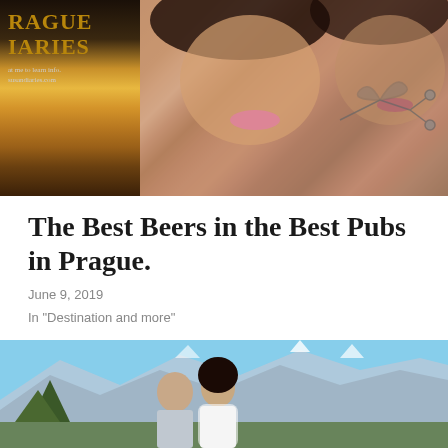[Figure (photo): Top photo showing two women smiling, with a Prague Diaries book/logo visible on the left side and ornamental design on the right]
The Best Beers in the Best Pubs in Prague.
June 9, 2019
In "Destination and more"
[Figure (photo): Photo of a man and woman standing together on a mountain viewpoint with scenic Himalayan landscape in the background, blue sky with white clouds]